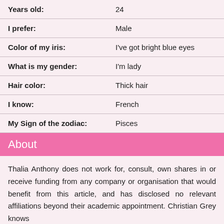| Label | Value |
| --- | --- |
| Years old: | 24 |
| I prefer: | Male |
| Color of my iris: | I've got bright blue eyes |
| What is my gender: | I'm lady |
| Hair color: | Thick hair |
| I know: | French |
| My Sign of the zodiac: | Pisces |
About
Thalia Anthony does not work for, consult, own shares in or receive funding from any company or organisation that would benefit from this article, and has disclosed no relevant affiliations beyond their academic appointment. Christian Grey knows